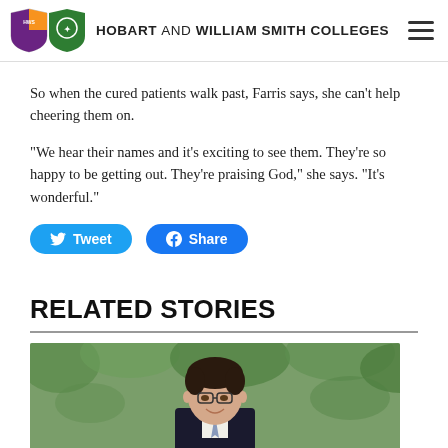HOBART AND WILLIAM SMITH COLLEGES
So when the cured patients walk past, Farris says, she can’t help cheering them on.
“We hear their names and it’s exciting to see them. They’re so happy to be getting out. They’re praising God,” she says. “It’s wonderful.”
[Figure (other): Tweet and Facebook Share social buttons]
RELATED STORIES
[Figure (photo): Photo of a smiling man in a dark suit with glasses, standing in front of green foliage]